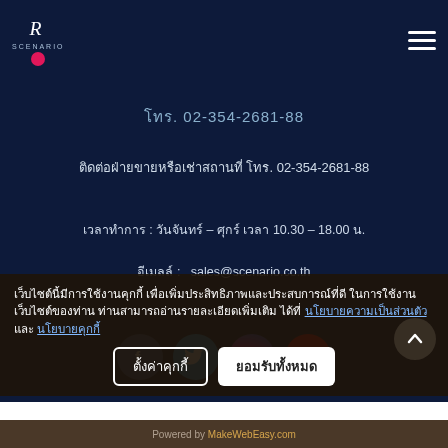Scenario logo and navigation hamburger menu
โทร. 02-354-2681-88
ติดต่อฝ่ายขายหรือเช่าสถานที่ โทร. 02-354-2681-88
เวลาทำการ : วันจันทร์ – ศุกร์ เวลา 10.30 – 18.00 น.
อีเมลล์ :   sales@scenario.co.th
[Figure (illustration): Social media icons row: Facebook (blue), Twitter (light blue), Instagram (gradient), YouTube (red)]
เว็บไซต์นี้มีการใช้งานคุกกี้ เพื่อเพิ่มประสิทธิภาพและประสบการณ์ที่ดีในการใช้งานเว็บไซต์ของท่าน ท่านสามารถอ่านรายละเอียดเพิ่มเติมได้ที่ นโยบายความเป็นส่วนตัว และ นโยบายคุกกี้
Powered by MakeWebEasy.com